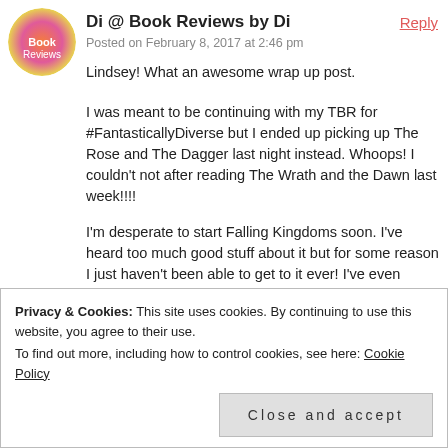[Figure (photo): Circular avatar image with colorful gradient design for user Di]
Di @ Book Reviews by Di
Posted on February 8, 2017 at 2:46 pm
Reply
Lindsey! What an awesome wrap up post.
I was meant to be continuing with my TBR for #FantasticallyDiverse but I ended up picking up The Rose and The Dagger last night instead. Whoops! I couldn't not after reading The Wrath and the Dawn last week!!!!
I'm desperate to start Falling Kingdoms soon. I've heard too much good stuff about it but for some reason I just haven't been able to get to it ever! I've even borrowed it from the library – TWICE!!!
I love Percy Jackson too and really should do a reread one day. 🙂
I'm sorry to hear about your anxiety and the ongoing job
Privacy & Cookies: This site uses cookies. By continuing to use this website, you agree to their use.
To find out more, including how to control cookies, see here: Cookie Policy
Close and accept